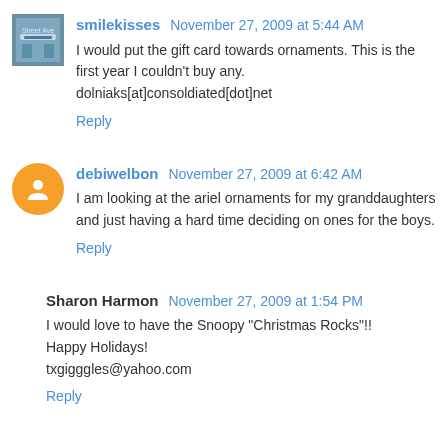smilekisses November 27, 2009 at 5:44 AM
I would put the gift card towards ornaments. This is the first year I couldn't buy any.
dolniaks[at]consoldiated[dot]net
Reply
debiwelbon November 27, 2009 at 6:42 AM
I am looking at the ariel ornaments for my granddaughters and just having a hard time deciding on ones for the boys.
Reply
Sharon Harmon November 27, 2009 at 1:54 PM
I would love to have the Snoopy "Christmas Rocks"!!
Happy Holidays!
txgigggles@yahoo.com
Reply